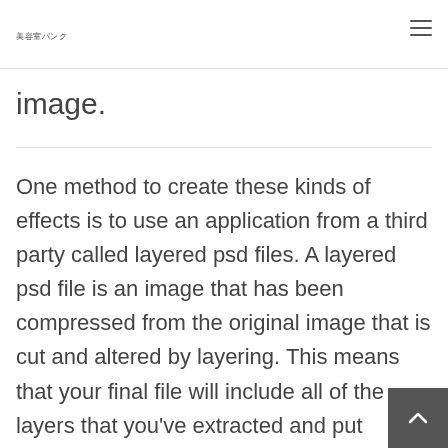美容室パンク
image.
One method to create these kinds of effects is to use an application from a third party called layered psd files. A layered psd file is an image that has been compressed from the original image that is cut and altered by layering. This means that your final file will include all of the layers that you've extracted and put together in one cohesive piece. You can then alter the layers and blend them to